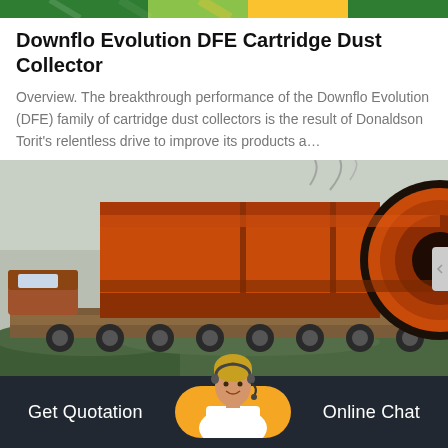[Figure (photo): Top banner image — partial view of green/yellow flag or decorative strip]
Downflo Evolution DFE Cartridge Dust Collector
Overview. The breakthrough performance of the Downflo Evolution (DFE) family of cartridge dust collectors is the result of Donaldson Torit's relentless drive to improve its products a…
[Figure (photo): Large orange cylindrical industrial equipment (rotary drum or dust collector cylinders) loaded on a flatbed truck, viewed from the side. Background includes greenery and a white sky.]
Get Quotation   Online Chat